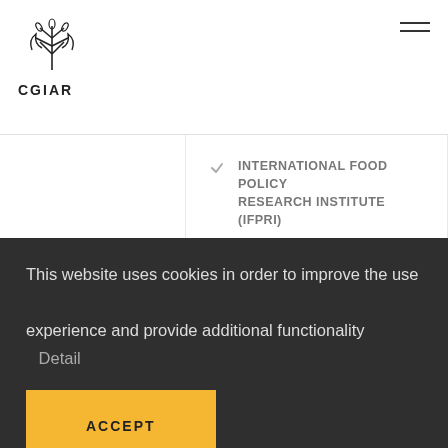CGIAR
INTERNATIONAL FOOD POLICY RESEARCH INSTITUTE (IFPRI)
11.06.18
ENVIRONMENTAL HEALTH
FOOD SECURITY
The Financial Express published an op-ed authored by IFPRI research fellow Arriving Kish...
This website uses cookies in order to improve the use experience and provide additional functionality Detail
ACCEPT